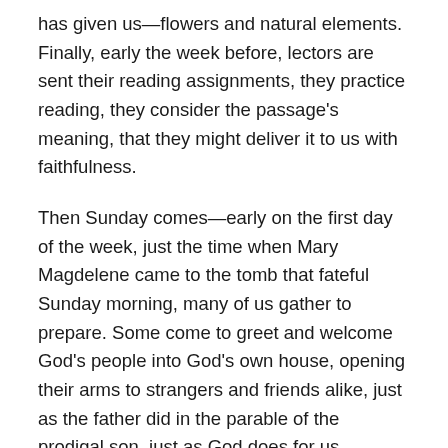has given us—flowers and natural elements. Finally, early the week before, lectors are sent their reading assignments, they practice reading, they consider the passage's meaning, that they might deliver it to us with faithfulness.
Then Sunday comes—early on the first day of the week, just the time when Mary Magdelene came to the tomb that fateful Sunday morning, many of us gather to prepare. Some come to greet and welcome God's people into God's own house, opening their arms to strangers and friends alike, just as the father did in the parable of the prodigal son–just as God does for us.  Others of us take up stations inside the doors to help make everyone comfortable, to keep everyone safe, and to watch for how to keep the focus on God, directing the movements of hundreds of people with quiet confidence and cool heads